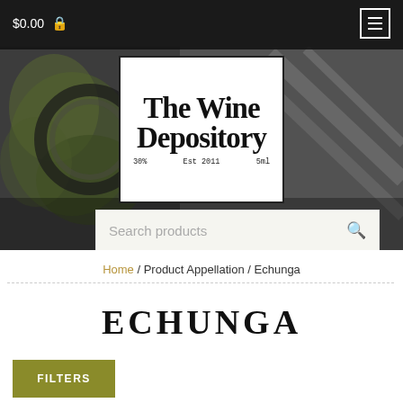$0.00
[Figure (screenshot): Hero banner image showing vintage wine cellar keys and foliage in black and white with green tones, with The Wine Depository logo overlaid in a white box]
The Wine Depository — Est 2011
Search products
Home / Product Appellation / Echunga
ECHUNGA
FILTERS